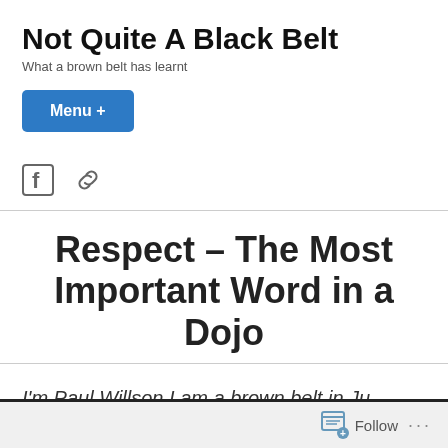Not Quite A Black Belt
What a brown belt has learnt
Menu +
Respect – The Most Important Word in a Dojo
I'm Paul Willson I am a brown belt in Ju Jutsu, a centuries old Japanese martial art.
Follow ...